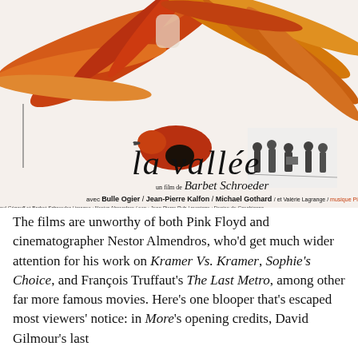[Figure (illustration): Movie poster for 'la vallée' directed by Barbet Schroeder. Features colorful exotic birds with long red and orange plumage at top, a cursive title 'la vallée', a small black-and-white scene of figures walking in lower right, and credits listing Bulle Ogier / Jean-Pierre Kalfon / Michael Gothard / et Valérie Lagrange / musique Pink Floyd, with additional technical credits below.]
The films are unworthy of both Pink Floyd and cinematographer Nestor Almendros, who'd get much wider attention for his work on Kramer Vs. Kramer, Sophie's Choice, and François Truffaut's The Last Metro, among other far more famous movies. Here's one blooper that's escaped most viewers' notice: in More's opening credits, David Gilmour's last